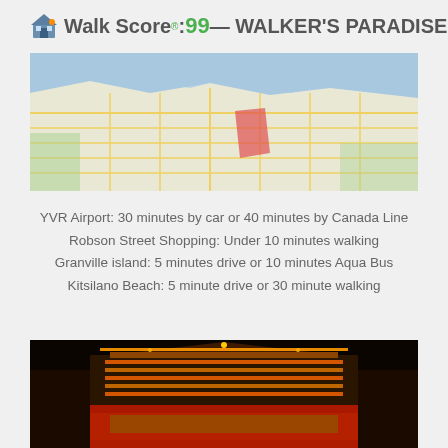Walk Score® 99 — WALKER'S PARADISE
[Figure (map): Street map showing a Vancouver neighborhood with roads, water, green areas, and a red highlighted zone near downtown Vancouver]
YVR Airport: 30 minutes by car or 40 minutes by Canada Line
Robson Street Shopping: Under 10 minutes walking
Granville island: 5 minutes drive or 10 minutes Aqua Bus
Kitsilano Beach: 5 minute drive or 30 minute walking
[Figure (photo): Night photo of an ornate Chinese gate/building with red lanterns and bright lights, likely in Vancouver's Chinatown]